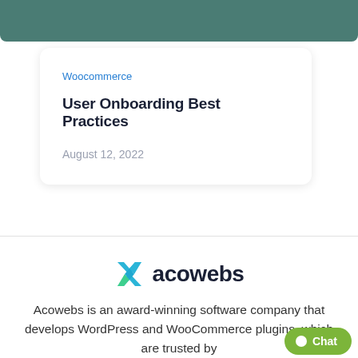[Figure (other): Teal/dark green header bar at the top of the page]
Woocommerce
User Onboarding Best Practices
August 12, 2022
[Figure (logo): Acowebs logo with a blue/green angular X icon and bold dark text 'acowebs']
Acowebs is an award-winning software company that develops WordPress and WooCommerce plugins, which are trusted by